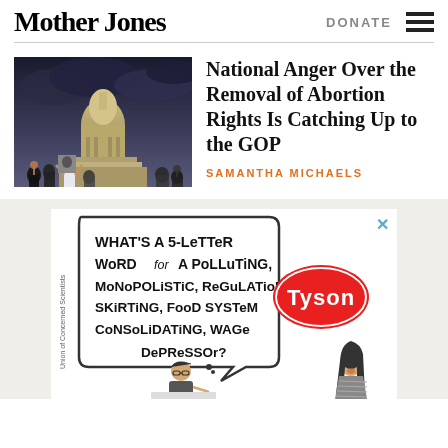Mother Jones
National Anger Over the Removal of Abortion Rights Is Catching Up to the GOP
SAMANTHA MICHAELS
[Figure (photo): Protest scene outside a government building (Capitol) with stormy sky; protesters holding signs including a portrait]
[Figure (illustration): Cartoon ad showing a crossword puzzle with speech bubble: WHAT'S A 5-LETTER WORD for A POLLUTING, MONOPOLISTIC, REGULATION-SKIRTING, FOOD SYSTEM CONSOLIDATING, WAGE DEPRESSOR? with Tyson logo. Two figures, one doing crossword, one reacting. Union of Concerned Scientists text visible.]